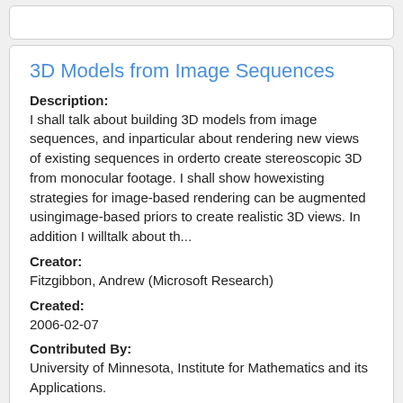3D Models from Image Sequences
Description:
I shall talk about building 3D models from image sequences, and inparticular about rendering new views of existing sequences in orderto create stereoscopic 3D from monocular footage. I shall show howexisting strategies for image-based rendering can be augmented usingimage-based priors to create realistic 3D views. In addition I willtalk about th...
Creator:
Fitzgibbon, Andrew (Microsoft Research)
Created:
2006-02-07
Contributed By:
University of Minnesota, Institute for Mathematics and its Applications.
Last Updated:
2018-06-19